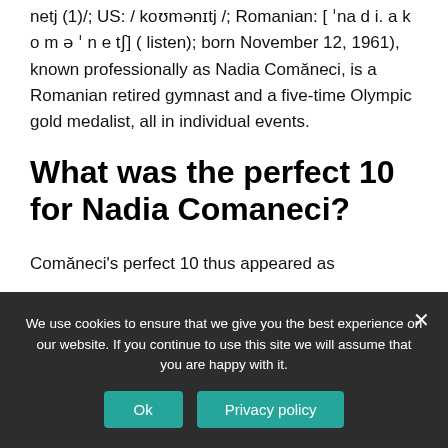netj (1)/; US: / koʊmənɪtj /; Romanian: [ ˈnadiakoma'netʃ] (listen); born November 12, 1961), known professionally as Nadia Comăneci, is a Romanian retired gymnast and a five-time Olympic gold medalist, all in individual events.
What was the perfect 10 for Nadia Comaneci?
Comăneci's perfect 10 thus appeared as
We use cookies to ensure that we give you the best experience on our website. If you continue to use this site we will assume that you are happy with it.